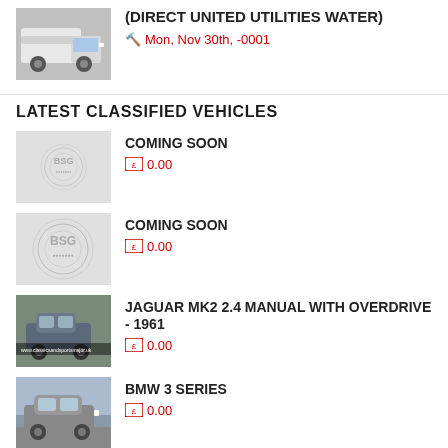(DIRECT UNITED UTILITIES WATER)
Mon, Nov 30th, -0001
LATEST CLASSIFIED VEHICLES
COMING SOON
0.00
COMING SOON
0.00
JAGUAR MK2 2.4 MANUAL WITH OVERDRIVE - 1961
0.00
BMW 3 SERIES
0.00